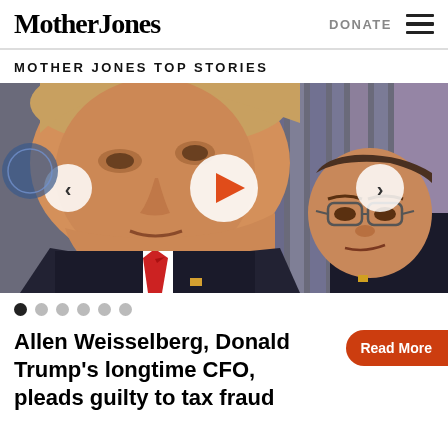Mother Jones | DONATE ☰
MOTHER JONES TOP STORIES
[Figure (photo): Photo of Donald Trump in foreground with red tie, and Allen Weisselberg in background, with carousel navigation arrows and play button overlay]
Allen Weisselberg, Donald Trump's longtime CFO, pleads guilty to tax fraud